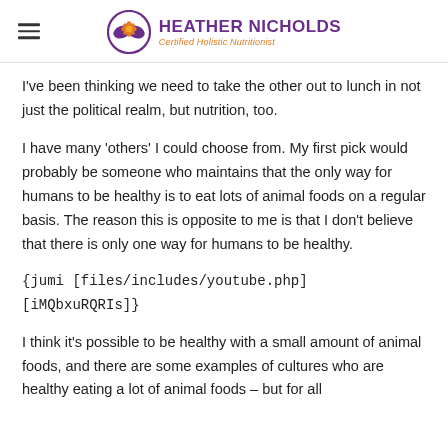HEATHER NICHOLDS — Certified Holistic Nutritionist
I've been thinking we need to take the other out to lunch in not just the political realm, but nutrition, too.
I have many 'others' I could choose from. My first pick would probably be someone who maintains that the only way for humans to be healthy is to eat lots of animal foods on a regular basis. The reason this is opposite to me is that I don't believe that there is only one way for humans to be healthy.
{jumi [files/includes/youtube.php] [iMQbxuRQRIs]}
I think it's possible to be healthy with a small amount of animal foods, and there are some examples of cultures who are healthy eating a lot of animal foods – but for all